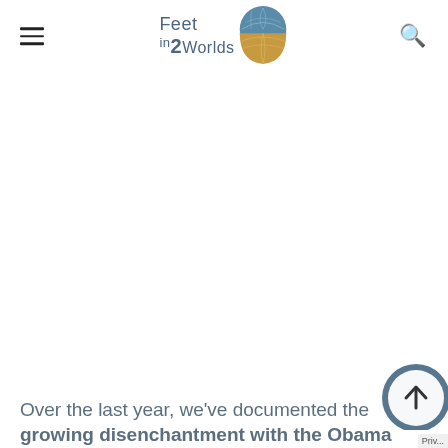Feet in 2 Worlds
[Figure (logo): Feet in 2 Worlds logo with globe graphic — blue upper half and gold lower half globe, with text 'Feet in 2Worlds' in blue-gray serif/sans font]
Over the last year, we've documented the growing disenchantment with the Obama